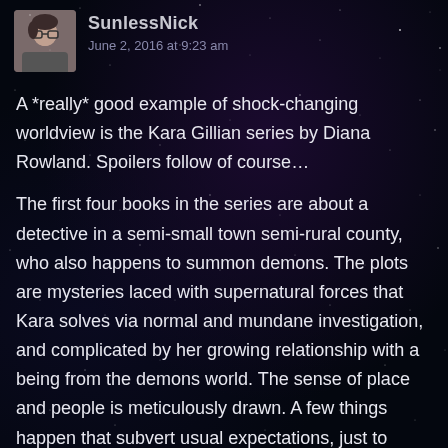SunlessNick
June 2, 2016 at 9:23 am
A *really* good example of shock-changing worldview is the Kara Gillian series by Diana Rowland. Spoilers follow of course…
The first four books in the series are about a detective in a semi-small town semi-rural county, who also happens to summon demons. The plots are mysteries laced with supernatural forces that Kara solves via normal and mundane investigation, and complicated by her growing relationship with a being from the demons world. The sense of place and people is meticulously drawn. A few things happen that subvert usual expectations, just to